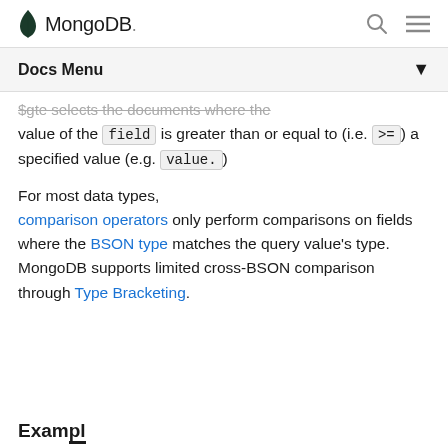MongoDB
Docs Menu
$gte selects the documents where the value of the field is greater than or equal to (i.e. >=) a specified value (e.g. value.)
For most data types, comparison operators only perform comparisons on fields where the BSON type matches the query value's type. MongoDB supports limited cross-BSON comparison through Type Bracketing.
Example